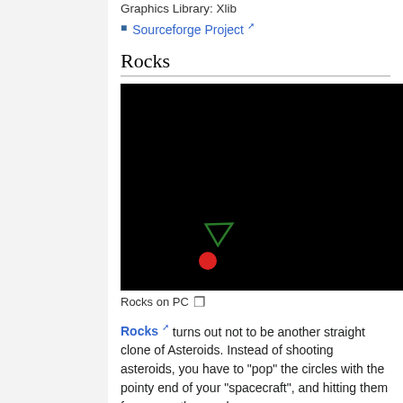Graphics Library: Xlib
Sourceforge Project
Rocks
[Figure (screenshot): Screenshot of the Rocks game on PC: black background with a small green triangle (spacecraft) and a red circle (asteroid/ball) near the lower-left area of the screen.]
Rocks on PC
Rocks turns out not to be another straight clone of Asteroids. Instead of shooting asteroids, you have to "pop" the circles with the pointy end of your "spacecraft", and hitting them from any other angle